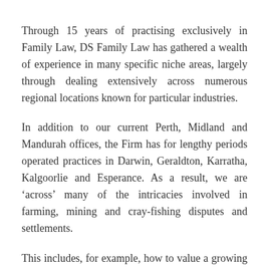Through 15 years of practising exclusively in Family Law, DS Family Law has gathered a wealth of experience in many specific niche areas, largely through dealing extensively across numerous regional locations known for particular industries.
In addition to our current Perth, Midland and Mandurah offices, the Firm has for lengthy periods operated practices in Darwin, Geraldton, Karratha, Kalgoorlie and Esperance. As a result, we are ‘across’ many of the intricacies involved in farming, mining and cray-fishing disputes and settlements.
This includes, for example, how to value a growing crop, the significance of the timing of such valuation and the importance of preserving the main, income-producing asset.
We are also acutely aware of the dangers of taking the value